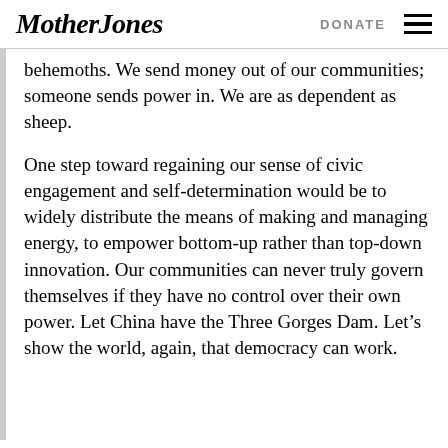Mother Jones | DONATE
behemoths. We send money out of our communities; someone sends power in. We are as dependent as sheep.
One step toward regaining our sense of civic engagement and self-determination would be to widely distribute the means of making and managing energy, to empower bottom-up rather than top-down innovation. Our communities can never truly govern themselves if they have no control over their own power. Let China have the Three Gorges Dam. Let’s show the world, again, that democracy can work.